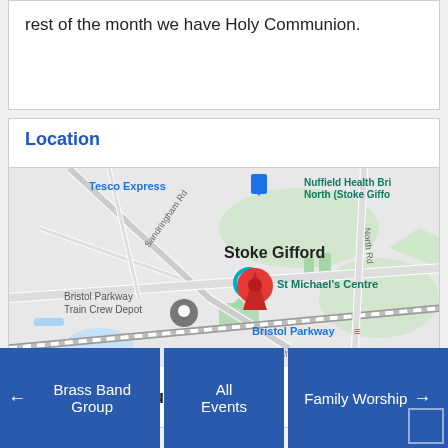rest of the month we have Holy Communion.
Location
[Figure (map): Google Maps view showing Stoke Gifford area with a red location pin at St Michael's Centre, near Bristol Parkway Train Crew Depot, Tesco Express, Nuffield Health Bristol North, and Bristol Parkway station]
St Michaels Church
← Brass Band Group
All Events
Family Worship →